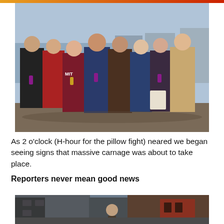[Figure (photo): Group of approximately 9 young people posing outdoors in what appears to be a park or plaza, some holding cans or bottles, one wearing an MIT sweatshirt. Taken on a sunny day.]
As 2 o'clock (H-hour for the pillow fight) neared we began seeing signs that massive carnage was about to take place.
Reporters never mean good news
[Figure (photo): Outdoor street scene with a person visible in the foreground, buildings in the background, taken in an urban area.]